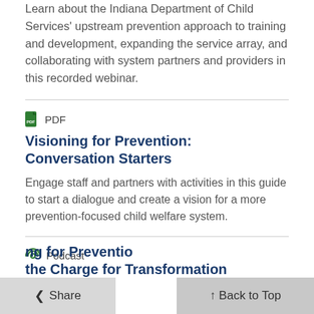Learn about the Indiana Department of Child Services' upstream prevention approach to training and development, expanding the service array, and collaborating with system partners and providers in this recorded webinar.
PDF
Visioning for Prevention: Conversation Starters
Engage staff and partners with activities in this guide to start a dialogue and create a vision for a more prevention-focused child welfare system.
Podcast
ng for Prevention the Charge for Transformation
Share
Back to Top